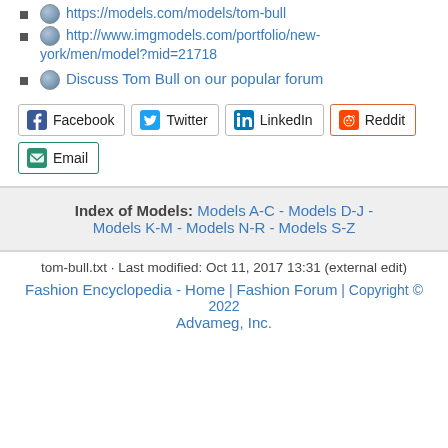https://models.com/models/tom-bull
http://www.imgmodels.com/portfolio/new-york/men/model?mid=21718
Discuss Tom Bull on our popular forum
Facebook  Twitter  LinkedIn  Reddit  Email
Index of Models: Models A-C - Models D-J - Models K-M - Models N-R - Models S-Z
tom-bull.txt · Last modified: Oct 11, 2017 13:31 (external edit)
Fashion Encyclopedia - Home | Fashion Forum | Copyright © 2022 Advameg, Inc.